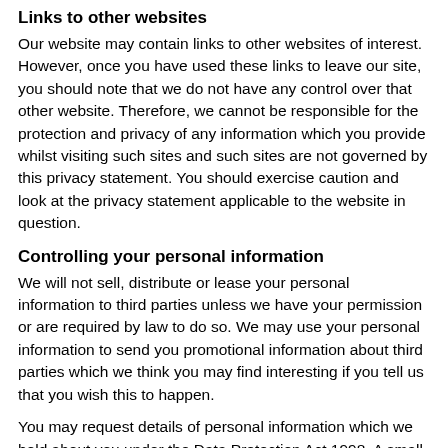Links to other websites
Our website may contain links to other websites of interest. However, once you have used these links to leave our site, you should note that we do not have any control over that other website. Therefore, we cannot be responsible for the protection and privacy of any information which you provide whilst visiting such sites and such sites are not governed by this privacy statement. You should exercise caution and look at the privacy statement applicable to the website in question.
Controlling your personal information
We will not sell, distribute or lease your personal information to third parties unless we have your permission or are required by law to do so. We may use your personal information to send you promotional information about third parties which we think you may find interesting if you tell us that you wish this to happen.
You may request details of personal information which we hold about you under the Data Protection Act 1998. A small fee will be payable. If you would like a copy of the information hold on you